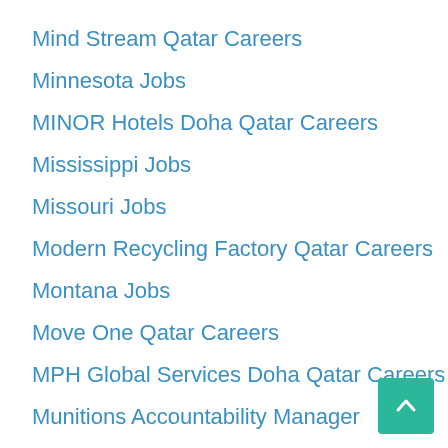Mind Stream Qatar Careers
Minnesota Jobs
MINOR Hotels Doha Qatar Careers
Mississippi Jobs
Missouri Jobs
Modern Recycling Factory Qatar Careers
Montana Jobs
Move One Qatar Careers
MPH Global Services Doha Qatar Careers
Munitions Accountability Manager
Nanny
Nebraska Jobs
Nestlé Doha Qatar Careers